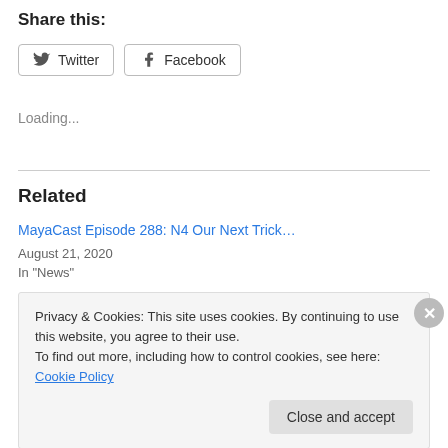Share this:
[Figure (screenshot): Twitter and Facebook share buttons]
Loading...
Related
MayaCast Episode 288: N4 Our Next Trick…
August 21, 2020
In "News"
Privacy & Cookies: This site uses cookies. By continuing to use this website, you agree to their use.
To find out more, including how to control cookies, see here: Cookie Policy
Close and accept